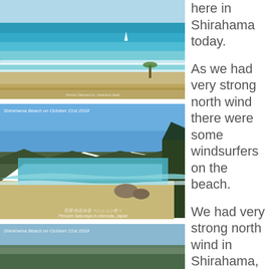[Figure (photo): Aerial/elevated view of Shirahama beach with turquoise ocean waves, a sailboat visible in the distance, sandy beach with fencing and a palm tree. Watermark text at bottom right.]
[Figure (photo): Shirahama Beach on October 21st 2018 - wide view of the beach bay with mountains in background, sandy shore with waves, rocks, and trees. Caption: Pension Sakuraya in shimoda, Japan.]
[Figure (photo): Shirahama Beach on October 21st 2018 - partial view, partially cut off at bottom of page.]
here in Shirahama today.

As we had very strong north wind there were some windsurfers on the beach.

We had very strong north wind in Shirahama, but there